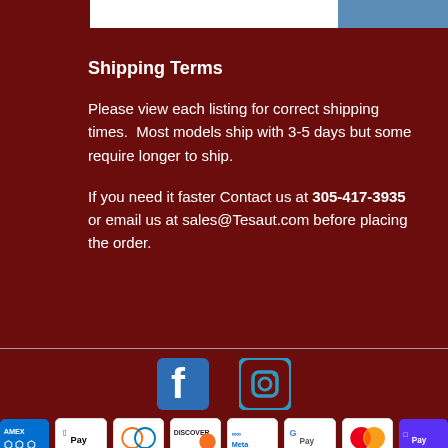Shipping Terms
Please view each listing for correct shipping times.  Most models ship with 3-5 days but some require longer to ship.
If you need it faster Contact us at 305-417-3935 or email us at sales@Tesaut.com before placing the order.
[Figure (other): Facebook and Instagram social media icons]
[Figure (other): Payment method icons: AMEX, Apple Pay, Diners Club, Discover, Meta Pay, Google Pay, Mastercard, ShopPay]